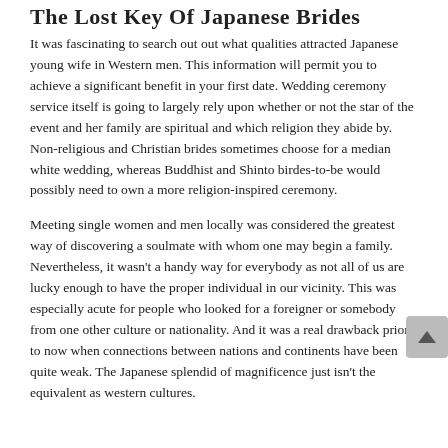The Lost Key Of Japanese Brides
It was fascinating to search out out what qualities attracted Japanese young wife in Western men. This information will permit you to achieve a significant benefit in your first date. Wedding ceremony service itself is going to largely rely upon whether or not the star of the event and her family are spiritual and which religion they abide by. Non-religious and Christian brides sometimes choose for a median white wedding, whereas Buddhist and Shinto birdes-to-be would possibly need to own a more religion-inspired ceremony.
Meeting single women and men locally was considered the greatest way of discovering a soulmate with whom one may begin a family. Nevertheless, it wasn't a handy way for everybody as not all of us are lucky enough to have the proper individual in our vicinity. This was especially acute for people who looked for a foreigner or somebody from one other culture or nationality. And it was a real drawback prior to now when connections between nations and continents have been quite weak. The Japanese splendid of magnificence just isn't the equivalent as western cultures.